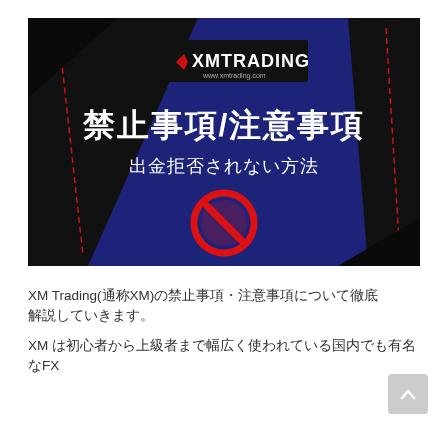[Figure (illustration): XM Trading banner image with dark navy blue background, diagonal black panels with red stitching lines, XM Trading logo in white on black rectangle at top center, large white Japanese text '禁止事項/注意事項' (Prohibited/Caution matters), smaller white Japanese text '出金拒否されない方法' (How to avoid withdrawal refusal), and a red no-entry/prohibition symbol circle below.]
XM Trading(通称XM)の禁止事項・注意事項について徹底解説していきます。
XM は初心者から上級者まで幅広く使われている国内でも有名なFX